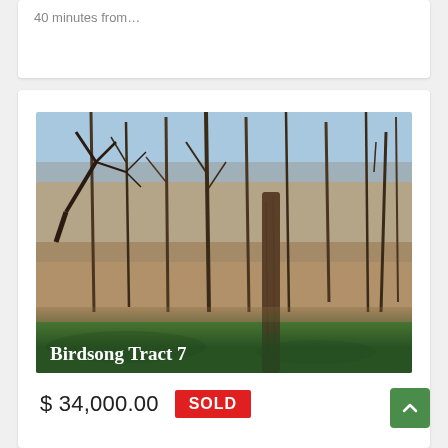40 minutes from…
[Figure (photo): Woodland scene with bare deciduous trees, leaf-covered ground, and green grass in foreground. Overlaid text reads 'Birdsong Tract 7'.]
Birdsong Tract 7
$ 34,000.00  SOLD